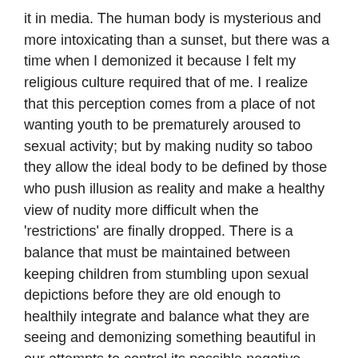it in media. The human body is mysterious and more intoxicating than a sunset, but there was a time when I demonized it because I felt my religious culture required that of me. I realize that this perception comes from a place of not wanting youth to be prematurely aroused to sexual activity; but by making nudity so taboo they allow the ideal body to be defined by those who push illusion as reality and make a healthy view of nudity more difficult when the 'restrictions' are finally dropped. There is a balance that must be maintained between keeping children from stumbling upon sexual depictions before they are old enough to healthily integrate and balance what they are seeing and demonizing something beautiful in our attempts to control its possible negative consequences.
Pornography is a lot like sex.
Whether it be parents, legislators or religionists, people make a big deal out of pornography for the